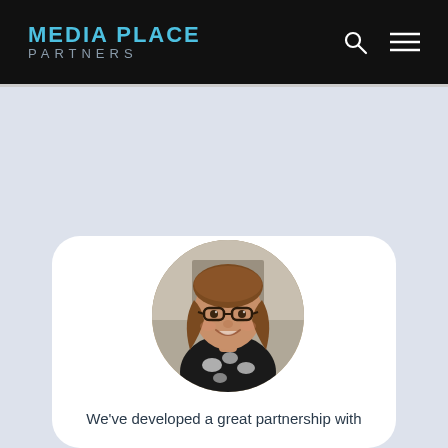MEDIA PLACE PARTNERS
[Figure (photo): Circular profile photo of a woman with glasses and shoulder-length brown hair, wearing a black and white patterned top, smiling, in an office setting]
We've developed a great partnership with